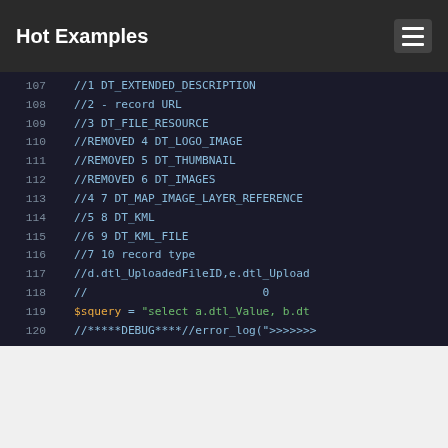Hot Examples
107   //1 DT_EXTENDED_DESCRIPTION
108   //2 - record URL
109   //3 DT_FILE_RESOURCE
110   //REMOVED 4 DT_LOGO_IMAGE
111   //REMOVED 5 DT_THUMBNAIL
112   //REMOVED 6 DT_IMAGES
113   //4 7 DT_MAP_IMAGE_LAYER_REFERENCE
114   //5 8 DT_KML
115   //6 9 DT_KML_FILE
116   //7 10 record type
117   //d.dtl_UploadedFileID,e.dtl_Upload...
118   //                          0
119   $squery = "select a.dtl_Value, b.dt...
120   //*****DEBUG****//error_log(">>>>>>>...